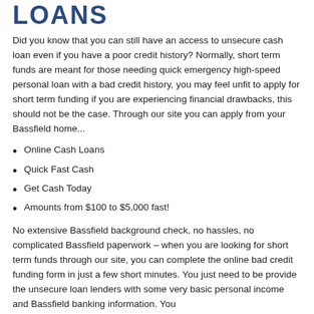LOANS
Did you know that you can still have an access to unsecure cash loan even if you have a poor credit history? Normally, short term funds are meant for those needing quick emergency high-speed personal loan with a bad credit history, you may feel unfit to apply for short term funding if you are experiencing financial drawbacks, this should not be the case. Through our site you can apply from your Bassfield home...
Online Cash Loans
Quick Fast Cash
Get Cash Today
Amounts from $100 to $5,000 fast!
No extensive Bassfield background check, no hassles, no complicated Bassfield paperwork – when you are looking for short term funds through our site, you can complete the online bad credit funding form in just a few short minutes. You just need to be provide the unsecure loan lenders with some very basic personal income and Bassfield banking information. You